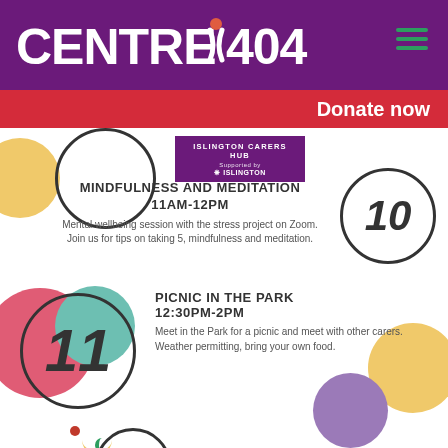[Figure (logo): Centre404 logo in white text on purple background with green figure/person icon, hamburger menu icon top right]
Donate now
[Figure (infographic): Islington Carers Hub badge in purple with Islington council branding]
MINDFULNESS AND MEDITATION
11AM-12PM
Mental wellbeing session with the stress project on Zoom. Join us for tips on taking 5, mindfulness and meditation.
[Figure (illustration): Circle with number 10 inside, hand-drawn style]
[Figure (illustration): Colourful decorative circles in pink, teal, yellow, purple with circle containing number 11]
PICNIC IN THE PARK
12:30PM-2PM
Meet in the Park for a picnic and meet with other carers. Weather permitting, bring your own food.